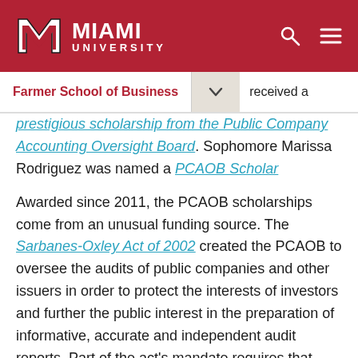Miami University — Farmer School of Business
received a prestigious scholarship from the Public Company Accounting Oversight Board. Sophomore Marissa Rodriguez was named a PCAOB Scholar
Awarded since 2011, the PCAOB scholarships come from an unusual funding source. The Sarbanes-Oxley Act of 2002 created the PCAOB to oversee the audits of public companies and other issuers in order to protect the interests of investors and further the public interest in the preparation of informative, accurate and independent audit reports. Part of the act's mandate requires that monetary penalties imposed in PCAOB